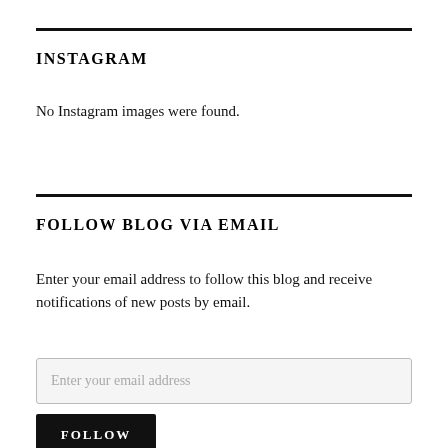INSTAGRAM
No Instagram images were found.
FOLLOW BLOG VIA EMAIL
Enter your email address to follow this blog and receive notifications of new posts by email.
Enter your email address
FOLLOW